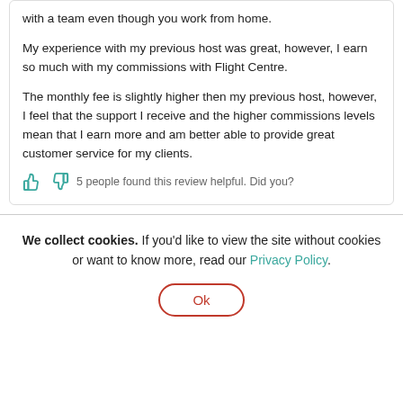with a team even though you work from home.
My experience with my previous host was great, however, I earn so much with my commissions with Flight Centre.
The monthly fee is slightly higher then my previous host, however, I feel that the support I receive and the higher commissions levels mean that I earn more and am better able to provide great customer service for my clients.
5 people found this review helpful. Did you?
We collect cookies. If you'd like to view the site without cookies or want to know more, read our Privacy Policy.